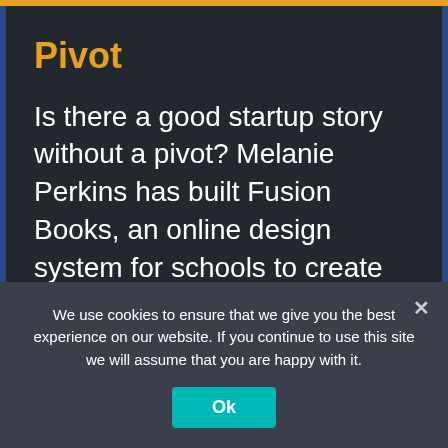Pivot
Is there a good startup story without a pivot? Melanie Perkins has built Fusion Books, an online design system for schools to create their yearbooks. It eventually grew to become Australia’s biggest yearbook publisher
We use cookies to ensure that we give you the best experience on our website. If you continue to use this site we will assume that you are happy with it.